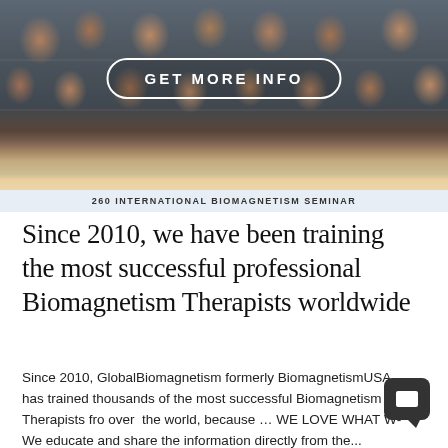[Figure (photo): Group photo of a large crowd of people (attendees) at a biomagnetism seminar, seated and standing together, with a 'GET MORE INFO' button overlay in the center.]
260 INTERNATIONAL BIOMAGNETISM SEMINAR
Since 2010, we have been training the most successful professional Biomagnetism Therapists worldwide
Since 2010, GlobalBiomagnetism formerly BiomagnetismUSA has trained thousands of the most successful Biomagnetism Therapists from over the world, because … WE LOVE WHAT W... We educate and share the information directly from the...